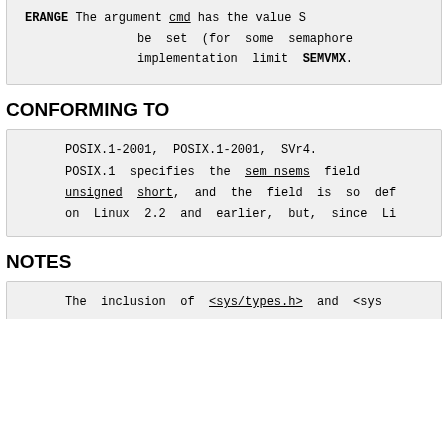ERANGE The argument cmd has the value S be set (for some semaphore implementation limit SEMVMX.
CONFORMING TO
POSIX.1-2001, POSIX.1-2001, SVr4.

POSIX.1 specifies the sem_nsems field unsigned short, and the field is so def on Linux 2.2 and earlier, but, since Li
NOTES
The inclusion of <sys/types.h> and <sys